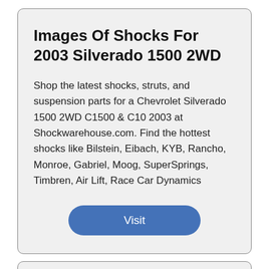Images Of Shocks For 2003 Silverado 1500 2WD
Shop the latest shocks, struts, and suspension parts for a Chevrolet Silverado 1500 2WD C1500 & C10 2003 at Shockwarehouse.com. Find the hottest shocks like Bilstein, Eibach, KYB, Rancho, Monroe, Gabriel, Moog, SuperSprings, Timbren, Air Lift, Race Car Dynamics
Visit
Shocks And Accessories For